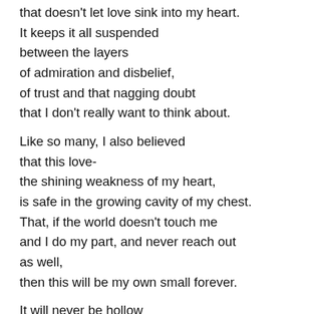that doesn't let love sink into my heart.
It keeps it all suspended
between the layers
of admiration and disbelief,
of trust and that nagging doubt
that I don't really want to think about.
Like so many, I also believed
that this love-
the shining weakness of my heart,
is safe in the growing cavity of my chest.
That, if the world doesn't touch me
and I do my part, and never reach out
as well,
then this will be my own small forever.
It will never be hollow
till I don't test its reality.